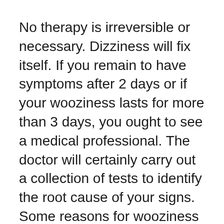No therapy is irreversible or necessary. Dizziness will fix itself. If you remain to have symptoms after 2 days or if your wooziness lasts for more than 3 days, you ought to see a medical professional. The doctor will certainly carry out a collection of tests to identify the root cause of your signs. Some reasons for wooziness may be momentary concerns such as rest apnea or equilibrium issues caused by a lately identified illness. Some conditions such as diabetes, Parkinson's illness, and hyperthyroidism can additionally bring about wooziness and also need to be reviewed and also dealt with.
Vertigo is usually associated with vestibular settlement. This is a problem that causes the